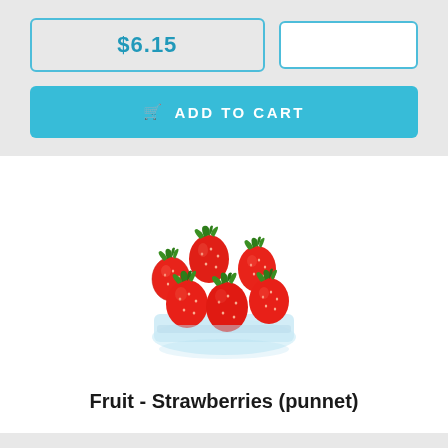$6.15
[Figure (photo): A punnet/tray of fresh red strawberries with green leaves, viewed from a slightly elevated angle on a white background.]
Fruit - Strawberries (punnet)